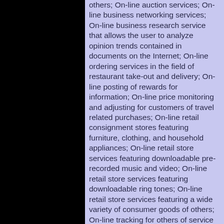others; On-line auction services; On-line business networking services; On-line business research service that allows the user to analyze opinion trends contained in documents on the Internet; On-line ordering services in the field of restaurant take-out and delivery; On-line posting of rewards for information; On-line price monitoring and adjusting for customers of travel related purchases; On-line retail consignment stores featuring furniture, clothing, and household appliances; On-line retail store services featuring downloadable pre-recorded music and video; On-line retail store services featuring downloadable ring tones; On-line retail store services featuring a wide variety of consumer goods of others; On-line tracking for others of service contracts for residential appliances and consumer goods; On-line trading services in which seller posts products to be auctioned